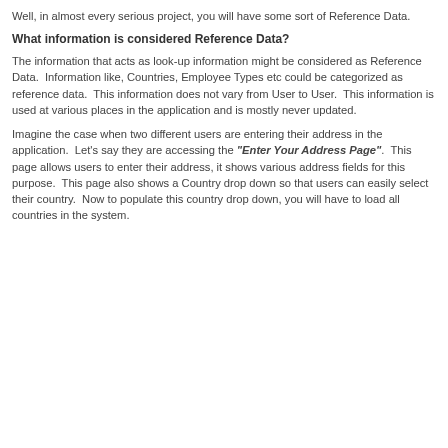Well, in almost every serious project, you will have some sort of Reference Data.
What information is considered Reference Data?
The information that acts as look-up information might be considered as Reference Data.  Information like, Countries, Employee Types etc could be categorized as reference data.  This information does not vary from User to User.  This information is used at various places in the application and is mostly never updated.
Imagine the case when two different users are entering their address in the application.  Let's say they are accessing the "Enter Your Address Page".  This page allows users to enter their address, it shows various address fields for this purpose.  This page also shows a Country drop down so that users can easily select their country.  Now to populate this country drop down, you will have to load all countries in the system.